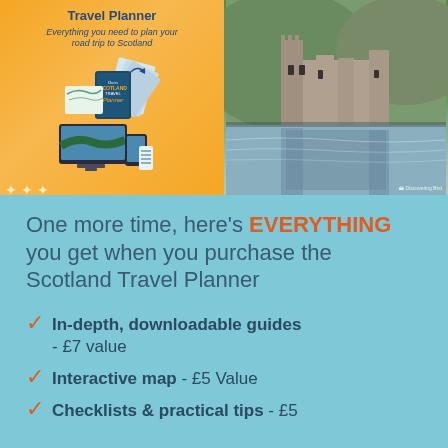[Figure (illustration): Scotland Travel Planner promotional banner split into two halves: left side orange/yellow background with product mockup showing maps, laptop, tablet, and travel planner booklet with text 'Travel Planner - Everything you need to plan your road trip to Scotland'; right side photo of Kilchurn Castle reflected in a loch with green hills in background.]
One more time, here's EVERYTHING you get when you purchase the Scotland Travel Planner
In-depth, downloadable guides - £7 value
Interactive map - £5 Value
Checklists & practical tips - £5